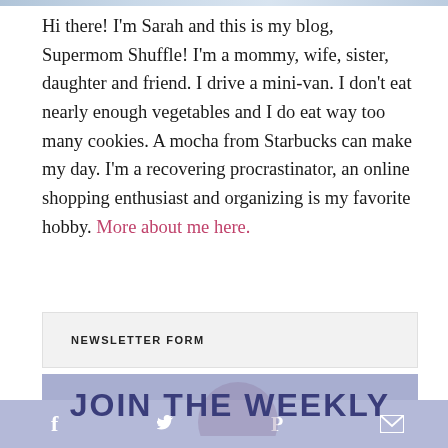[Figure (photo): Decorative image strip at the top of the page]
Hi there! I'm Sarah and this is my blog, Supermom Shuffle! I'm a mommy, wife, sister, daughter and friend. I drive a mini-van. I don't eat nearly enough vegetables and I do eat way too many cookies. A mocha from Starbucks can make my day. I'm a recovering procrastinator, an online shopping enthusiast and organizing is my favorite hobby. More about me here.
NEWSLETTER FORM
JOIN THE WEEKLY
f  twitter  P  mail